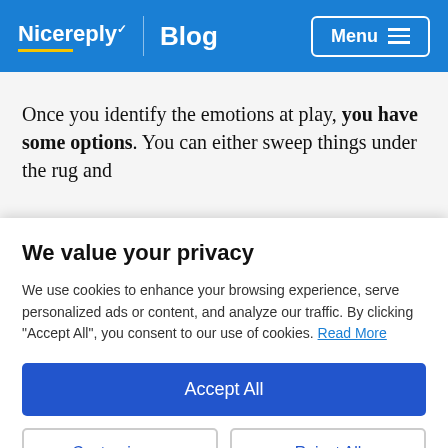Nicereply | Blog | Menu
Once you identify the emotions at play, you have some options. You can either sweep things under the rug and
We value your privacy
We use cookies to enhance your browsing experience, serve personalized ads or content, and analyze our traffic. By clicking "Accept All", you consent to our use of cookies. Read More
Accept All
Customize  Reject All